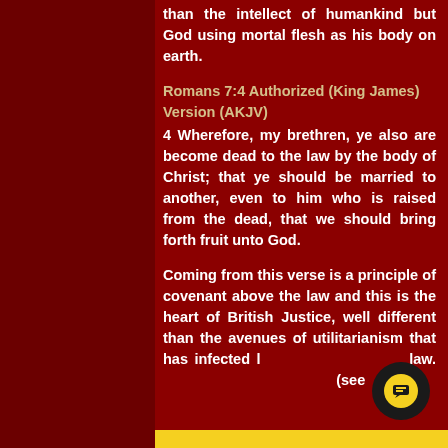than the intellect of humankind but God using mortal flesh as his body on earth.
Romans 7:4 Authorized (King James) Version (AKJV)
4 Wherefore, my brethren, ye also are become dead to the law by the body of Christ; that ye should be married to another, even to him who is raised from the dead, that we should bring forth fruit unto God.
Coming from this verse is a principle of covenant above the law and this is the heart of British Justice, well different than the avenues of utilitarianism that has infected law. (see